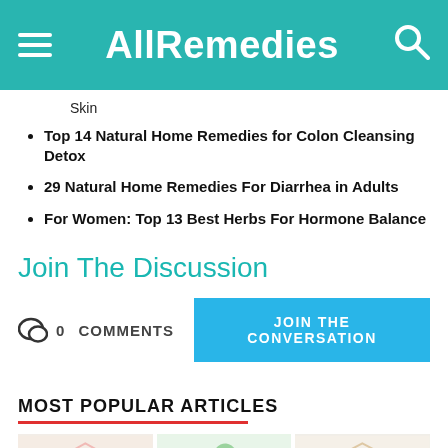AllRemedies
Skin
Top 14 Natural Home Remedies for Colon Cleansing Detox
29 Natural Home Remedies For Diarrhea in Adults
For Women: Top 13 Best Herbs For Hormone Balance
Join The Discussion
0 COMMENTS
JOIN THE CONVERSATION
MOST POPULAR ARTICLES
[Figure (photo): Three article thumbnail images showing health-related photos: left shows a person with skin/face, center shows green mint/herb leaves, right shows a person.]